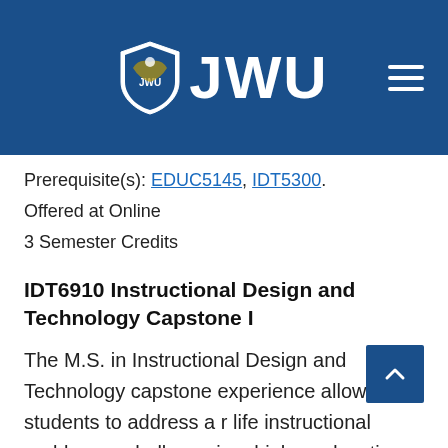JWU
Prerequisite(s): EDUC5145, IDT5300.
Offered at Online
3 Semester Credits
IDT6910 Instructional Design and Technology Capstone I
The M.S. in Instructional Design and Technology capstone experience allows students to address a real life instructional problem or challenge in a higher education or training environment using principles of adult learning and instruction. In this first capstone course, students identify a client with an instructional